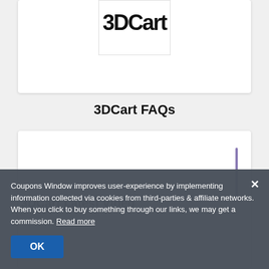[Figure (screenshot): Partial top section of a webpage card showing a logo/image box (partially visible, cut off at top of page)]
3DCart FAQs
[Figure (screenshot): White card area for 3DCart FAQs content with a vertical purple scroll bar on the right]
3DCart Latest Video
Coupons Window improves user-experience by implementing information collected via cookies from third-parties & affiliate networks. When you click to buy something through our links, we may get a commission. Read more
OK